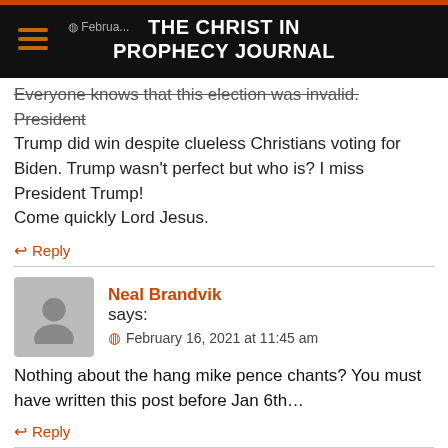THE CHRIST IN PROPHECY JOURNAL
Everyone knows that this election was invalid. President Trump did win despite clueless Christians voting for Biden. Trump wasn't perfect but who is? I miss President Trump!
Come quickly Lord Jesus.
Reply
Neal Brandvik says:
February 16, 2021 at 11:45 am
Nothing about the hang mike pence chants? You must have written this post before Jan 6th…
Reply
Vanessa Schoettle says: